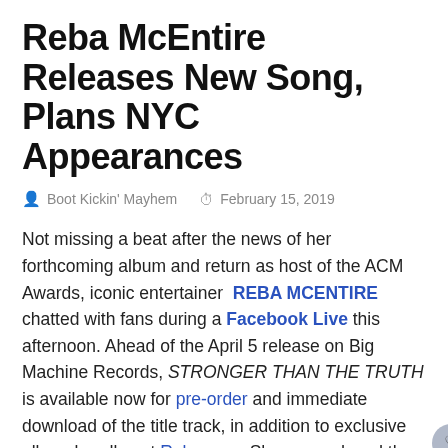Reba McEntire Releases New Song, Plans NYC Appearances
Boot Kickin' Mayhem   February 15, 2019
Not missing a beat after the news of her forthcoming album and return as host of the ACM Awards, iconic entertainer REBA MCENTIRE chatted with fans during a Facebook Live this afternoon. Ahead of the April 5 release on Big Machine Records, STRONGER THAN THE TRUTH is available now for pre-order and immediate download of the title track, in addition to exclusive album bundles at Reba.com. She co-produced the 12-track project with Buddy Cann in Nashville.
Reba will venture to New York City next week for a media blitz with national television and digital platform appearances. On Wednesday (2/20), the